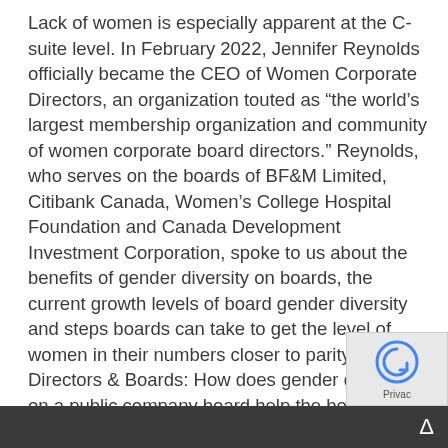Lack of women is especially apparent at the C-suite level. In February 2022, Jennifer Reynolds officially became the CEO of Women Corporate Directors, an organization touted as “the world’s largest membership organization and community of women corporate board directors.” Reynolds, who serves on the boards of BF&amp;M Limited, Citibank Canada, Women’s College Hospital Foundation and Canada Development Investment Corporation, spoke to us about the benefits of gender diversity on boards, the current growth levels of board gender diversity and steps boards can take to get the level of women in their numbers closer to parity.   Directors &amp; Boards: How does gender diversity on a public company board help the board and the company? Jennifer Reynolds: The basic business case has long been made in terms of looking at earnings for companies that have much more diverse boards. The numbers will hit you over and over, whether it’s Credit Suisse or whe...